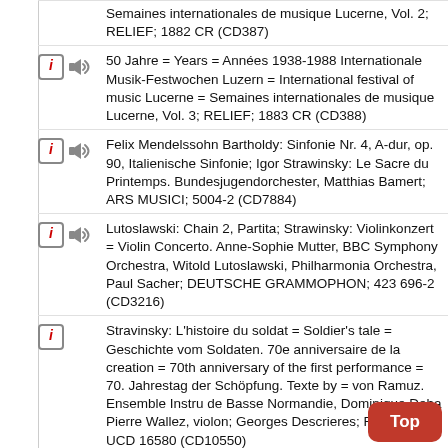Semaines internationales de musique Lucerne, Vol. 2; RELIEF; 1882 CR (CD387)
50 Jahre = Years = Années 1938-1988 Internationale Musik-Festwochen Luzern = International festival of music Lucerne = Semaines internationales de musique Lucerne, Vol. 3; RELIEF; 1883 CR (CD388)
Felix Mendelssohn Bartholdy: Sinfonie Nr. 4, A-dur, op. 90, Italienische Sinfonie; Igor Strawinsky: Le Sacre du Printemps. Bundesjugendorchester, Matthias Bamert; ARS MUSICI; 5004-2 (CD7884)
Lutoslawski: Chain 2, Partita; Strawinsky: Violinkonzert = Violin Concerto. Anne-Sophie Mutter, BBC Symphony Orchestra, Witold Lutoslawski, Philharmonia Orchestra, Paul Sacher; DEUTSCHE GRAMMOPHON; 423 696-2 (CD3216)
Stravinsky: L'histoire du soldat = Soldier's tale = Geschichte vom Soldaten. 70e anniversaire de la creation = 70th anniversary of the first performance = 70. Jahrestag der Schöpfung. Texte by = von Ramuz. Ensemble Instru de Basse Normandie, Dominique Deba Pierre Wallez, violon; Georges Descrieres; FORLANE; UCD 16580 (CD10550)